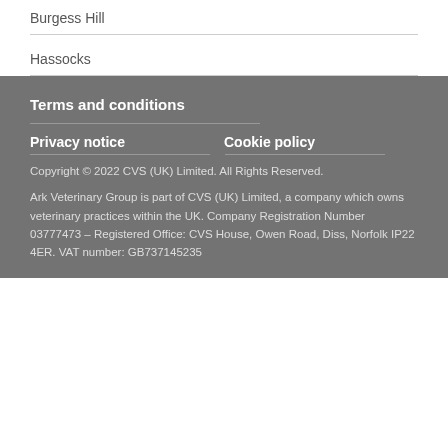Burgess Hill
Hassocks
Terms and conditions
Privacy notice
Cookie policy
Copyright © 2022 CVS (UK) Limited. All Rights Reserved.
Ark Veterinary Group is part of CVS (UK) Limited, a company which owns veterinary practices within the UK. Company Registration Number 03777473 – Registered Office: CVS House, Owen Road, Diss, Norfolk IP22 4ER. VAT number: GB737145235